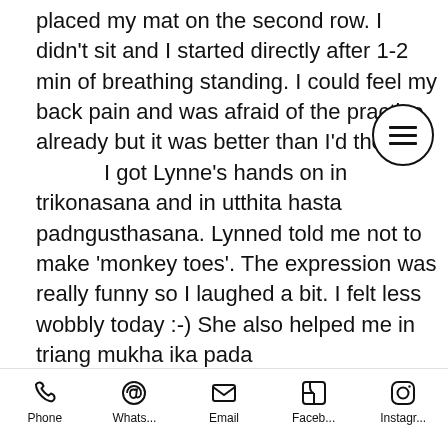placed my mat on the second row. I didn't sit and I started directly after 1-2 min of breathing standing. I could feel my back pain and was afraid of the practice already but it was better than I'd tho I got Lynne's hands on in trikonasana and in utthita hasta padngusthasana. Lynned told me not to make 'monkey toes'. The expression was really funny so I laughed a bit. I felt less wobbly today :-) She also helped me in triang mukha ika pada paschimottanasana. I should really take a video to see why every time teacher comes and pushed me on bent leg side. My sacrum area was really hurting in navasana. I think it's related to the whole
Phone  Whats...  Email  Faceb...  Instagr...